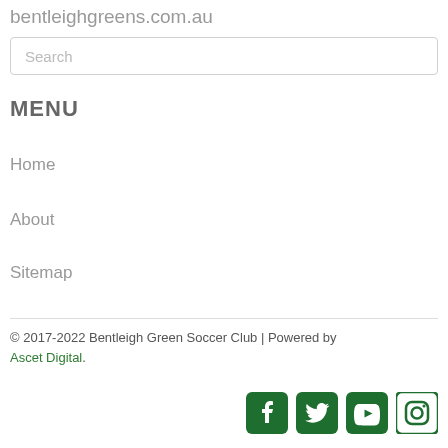bentleighgreens.com.au
Search
MENU
Home
About
Sitemap
© 2017-2022 Bentleigh Green Soccer Club | Powered by Ascet Digital.
[Figure (infographic): Social media icons: Facebook, Twitter, YouTube, Instagram in dark green]